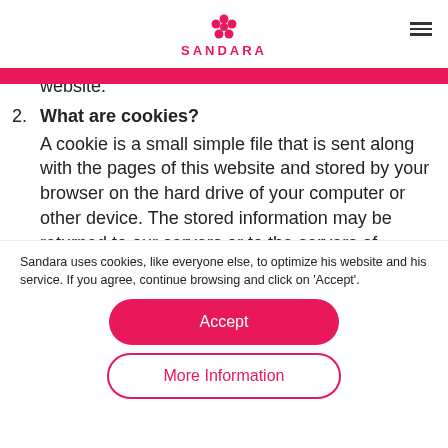SANDARA
...cookies are disclosed to third-parties where we have contracted with all parties, discovered we inform you on this website and makes sure it website.
2. What are cookies? A cookie is a small simple file that is sent along with the pages of this website and stored by your browser on the hard drive of your computer or other device. The stored information may be returned to our servers or to the servers of
Sandara uses cookies, like everyone else, to optimize his website and his service. If you agree, continue browsing and click on 'Accept'.